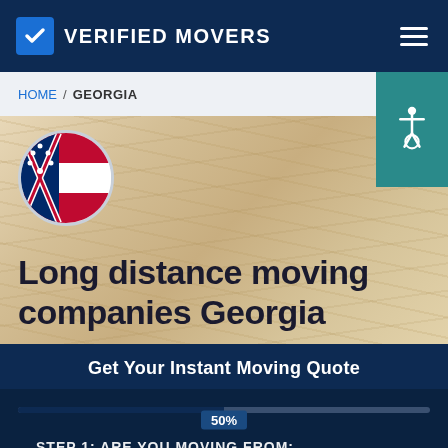VERIFIED MOVERS
HOME / GEORGIA
[Figure (illustration): Georgia state flag in a circular frame, showing red, white and blue stripes with state seal]
Long distance moving companies Georgia
Get Your Instant Moving Quote
50%
STEP 1: ARE YOU MOVING FROM: